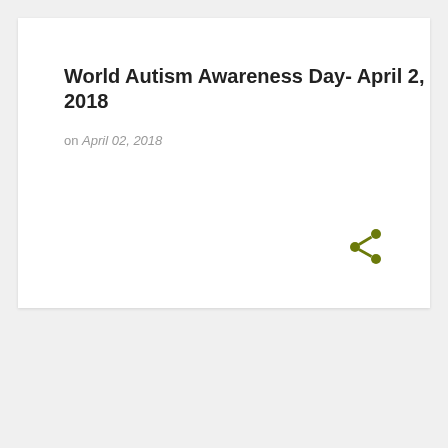World Autism Awareness Day- April 2, 2018
on April 02, 2018
[Figure (other): Share icon (social sharing) in olive/dark yellow-green color, positioned in upper right area of white card]